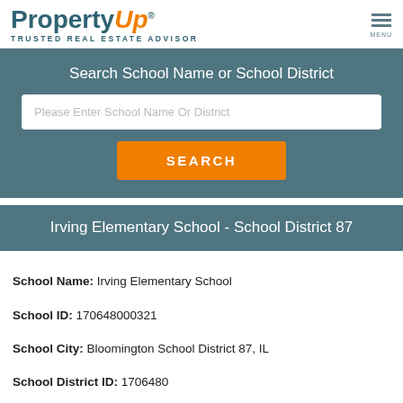PropertyUp® TRUSTED REAL ESTATE ADVISOR
Search School Name or School District
Please Enter School Name Or District
SEARCH
Irving Elementary School - School District 87
School Name: Irving Elementary School
School ID: 170648000321
School City: Bloomington School District 87, IL
School District ID: 1706480
School Level: Primary KG-05